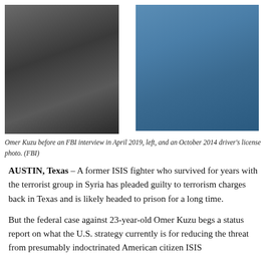[Figure (photo): Two side-by-side photos of Omer Kuzu: left photo taken before an FBI interview in April 2019, right photo is an October 2014 driver's license photo.]
Omer Kuzu before an FBI interview in April 2019, left, and an October 2014 driver's license photo. (FBI)
AUSTIN, Texas – A former ISIS fighter who survived for years with the terrorist group in Syria has pleaded guilty to terrorism charges back in Texas and is likely headed to prison for a long time.
But the federal case against 23-year-old Omer Kuzu begs a status report on what the U.S. strategy currently is for reducing the threat from presumably indoctrinated American citizen ISIS